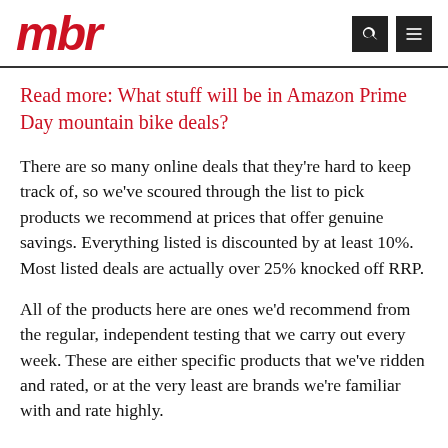mbr
Read more: What stuff will be in Amazon Prime Day mountain bike deals?
There are so many online deals that they’re hard to keep track of, so we’ve scoured through the list to pick products we recommend at prices that offer genuine savings. Everything listed is discounted by at least 10%. Most listed deals are actually over 25% knocked off RRP.
All of the products here are ones we’d recommend from the regular, independent testing that we carry out every week. These are either specific products that we’ve ridden and rated, or at the very least are brands we’re familiar with and rate highly.